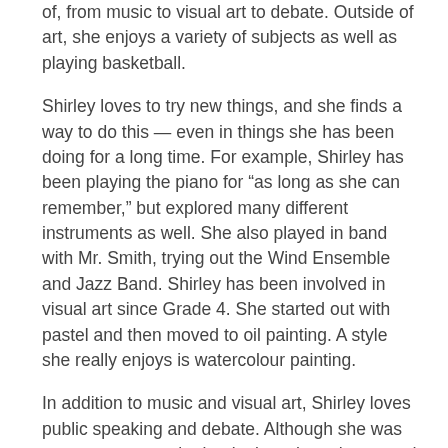of, from music to visual art to debate. Outside of art, she enjoys a variety of subjects as well as playing basketball.
Shirley loves to try new things, and she finds a way to do this — even in things she has been doing for a long time. For example, Shirley has been playing the piano for “as long as she can remember,” but explored many different instruments as well. She also played in band with Mr. Smith, trying out the Wind Ensemble and Jazz Band. Shirley has been involved in visual art since Grade 4. She started out with pastel and then moved to oil painting. A style she really enjoys is watercolour painting.
In addition to music and visual art, Shirley loves public speaking and debate. Although she was more nervous at the beginning when she started debate in Grade 8, by putting herself out there, she grew her confidence on stage to become an experienced debater. She took part in debate competitions such as the British Parliament debate, and even went to Nationals after passing the preliminaries! In terms of debate topics, she enjoys a mix